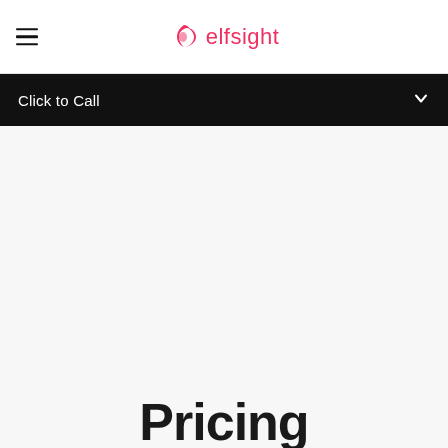elfsight
Click to Call
Pricing